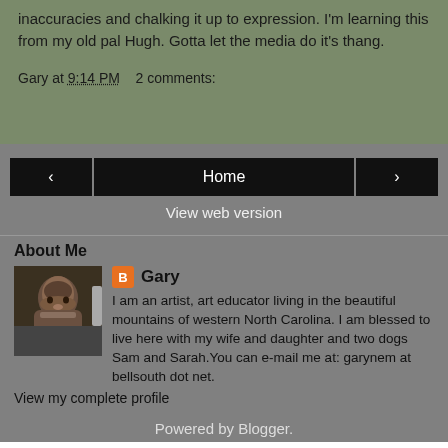inaccuracies and chalking it up to expression. I'm learning this from my old pal Hugh. Gotta let the media do it's thang.
Gary at 9:14 PM    2 comments:
‹   Home   ›
View web version
About Me
[Figure (photo): Profile photo of Gary, a bearded man]
Gary
I am an artist, art educator living in the beautiful mountains of western North Carolina. I am blessed to live here with my wife and daughter and two dogs Sam and Sarah.You can e-mail me at: garynem at bellsouth dot net.
View my complete profile
Powered by Blogger.